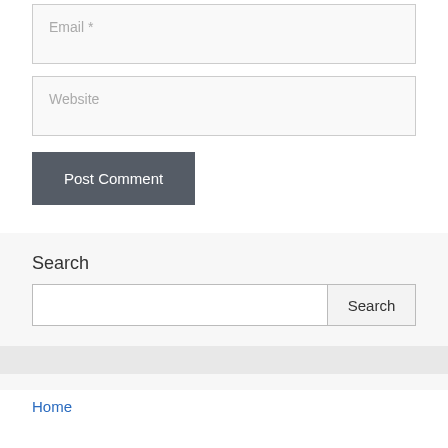Email *
Website
Post Comment
Search
Search
Home